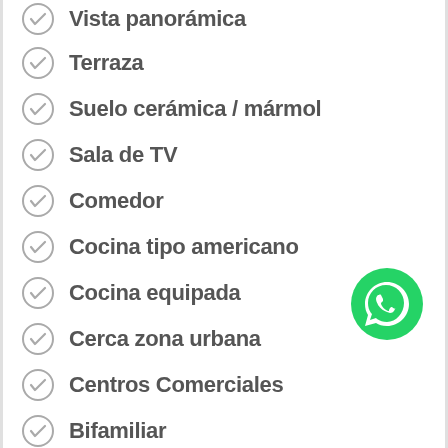Vista panorámica
Terraza
Suelo cerámica / mármol
Sala de TV
Comedor
Cocina tipo americano
Cocina equipada
Cerca zona urbana
Centros Comerciales
Bifamiliar
[Figure (logo): WhatsApp green circular button icon]